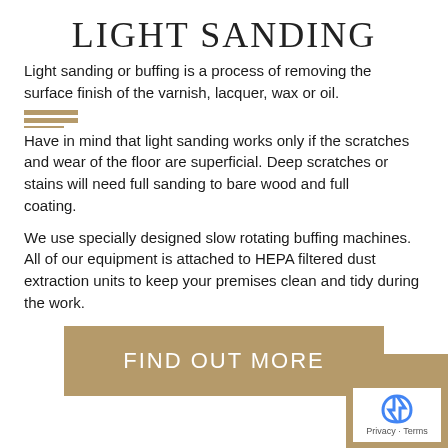LIGHT SANDING
Light sanding or buffing is a process of removing the surface finish of the varnish, lacquer, wax or oil.
Have in mind that light sanding works only if the scratches and wear of the floor are superficial. Deep scratches or stains will need full sanding to bare wood and full coating.
We use specially designed slow rotating buffing machines. All of our equipment is attached to HEPA filtered dust extraction units to keep your premises clean and tidy during the work.
FIND OUT MORE